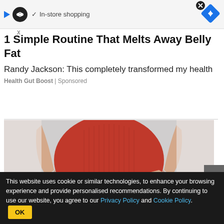[Figure (screenshot): Ad banner with infinity loop icon, play triangle, checkmark, 'In-store shopping' text, navigation diamond and close button]
1 Simple Routine That Melts Away Belly Fat
Randy Jackson: This completely transformed my health
Health Gut Boost | Sponsored
[Figure (photo): Woman in red sleeveless top holding her stomach/belly area with both arms crossed, against a light background]
This website uses cookie or similar technologies, to enhance your browsing experience and provide personalised recommendations. By continuing to use our website, you agree to our Privacy Policy and Cookie Policy.